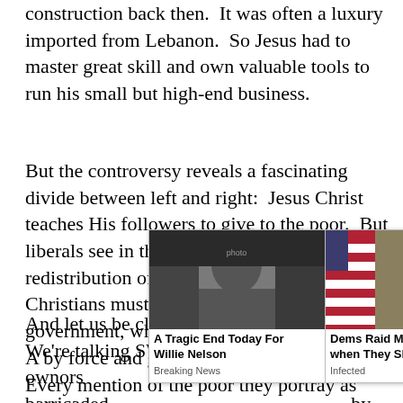construction back then.  It was often a luxury imported from Lebanon.  So Jesus had to master great skill and own valuable tools to run his small but high-end business.
But the controversy reveals a fascinating divide between left and right:  Jesus Christ teaches His followers to give to the poor.  But liberals see in this a call for forced redistribution of wealth -- by government.  Christians must support a socialist government, which takes money from Person A by force and gives that money to Person B.  Every mention of the poor they portray as demanding government control of a nation's economy.
And let us be clear: we're talking violence.  We're talking SWAT te[ams raiding property owners barricade[d in their homes, breaking down doors by police, b[...] te.  So does Jes[us...]
[Figure (other): Two advertisement overlay cards side by side. Left card shows an elderly man (Willie Nelson) with caption 'A Tragic End Today For Willie Nelson' and label 'Breaking News'. Right card shows a man in suit (Trump) with caption 'Dems Raid Mar-A-Lago when They Should b...' and label 'Infected'. A close/X button appears at top right of the overlay.]